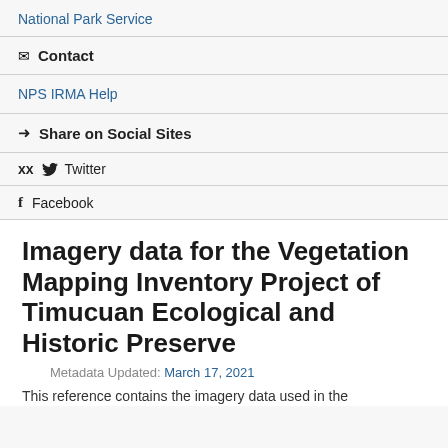National Park Service
✉ Contact
NPS IRMA Help
➤ Share on Social Sites
🐦 Twitter
f Facebook
Imagery data for the Vegetation Mapping Inventory Project of Timucuan Ecological and Historic Preserve
Metadata Updated: March 17, 2021
This reference contains the imagery data used in the